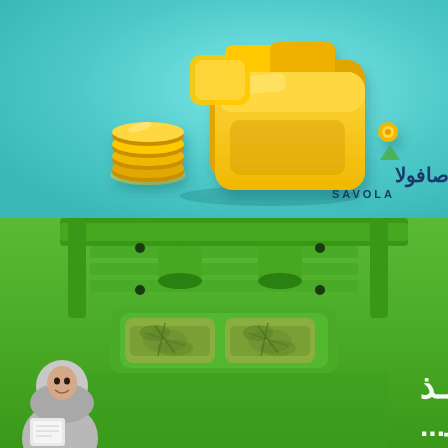[Figure (illustration): Top panel: teal/turquoise background with 3D yellow wallet and gold coins illustration. Savola logo in bottom right corner with Arabic text (صافولا) above the Latin text SAVOLA.]
[Figure (photo): Bottom panel: bright green background with overhead view of green furniture/living space with patterned cushions. A woman in hijab is visible at bottom left. Arabic text overlaid at bottom reading two lines of large bold white Arabic script.]